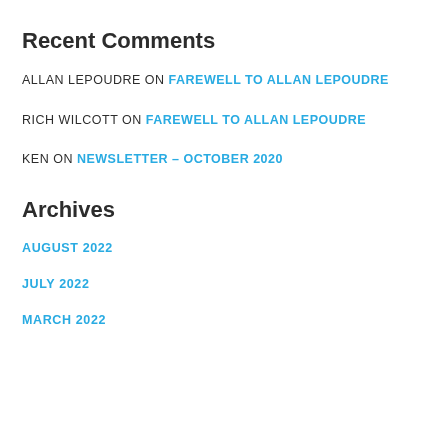Recent Comments
ALLAN LEPOUDRE ON FAREWELL TO ALLAN LEPOUDRE
RICH WILCOTT ON FAREWELL TO ALLAN LEPOUDRE
KEN ON NEWSLETTER – OCTOBER 2020
Archives
AUGUST 2022
JULY 2022
MARCH 2022